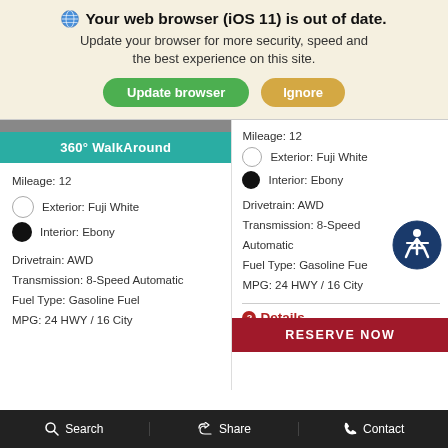🌐 Your web browser (iOS 11) is out of date. Update your browser for more security, speed and the best experience on this site.
Update browser | Ignore
360° WalkAround
Mileage: 12
Exterior: Fuji White
Interior: Ebony
Drivetrain: AWD
Transmission: 8-Speed Automatic
Fuel Type: Gasoline Fuel
MPG: 24 HWY / 16 City
Mileage: 12
Exterior: Fuji White
Interior: Ebony
Drivetrain: AWD
Transmission: 8-Speed Automatic
Fuel Type: Gasoline Fue
MPG: 24 HWY / 16 City
❷Details
|  |  |
| --- | --- |
| MSRP | $123,220 |
RESERVE NOW
🔍 Search    👍 Share    📞 Contact